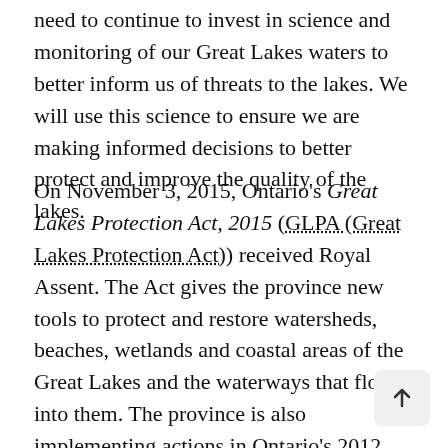need to continue to invest in science and monitoring of our Great Lakes waters to better inform us of threats to the lakes. We will use this science to ensure we are making informed decisions to better protect and improve the quality of the lakes.
On November 3, 2015, Ontario's Great Lakes Protection Act, 2015 (GLPA (Great Lakes Protection Act)) received Royal Assent. The Act gives the province new tools to protect and restore watersheds, beaches, wetlands and coastal areas of the Great Lakes and the waterways that flow into them. The province is also implementing actions in Ontario's 2012 Great Lakes Strategy (which is now enshrined in the GLPA (Great Lakes Protection Act)) focused on community engagement, water protection, costal and beach improvements, biodiversity protection, science, climate change adaptation, and innovative economic